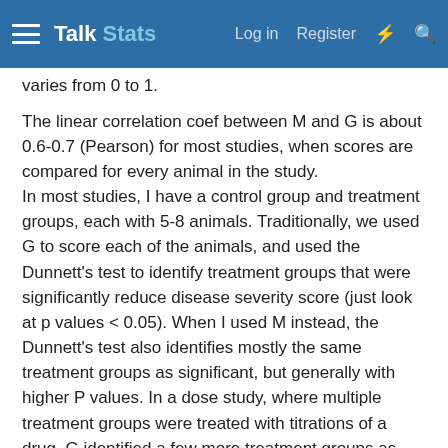Talk Stats | Log in | Register
varies from 0 to 1.
The linear correlation coef between M and G is about 0.6-0.7 (Pearson) for most studies, when scores are compared for every animal in the study.
In most studies, I have a control group and treatment groups, each with 5-8 animals. Traditionally, we used G to score each of the animals, and used the Dunnett's test to identify treatment groups that were significantly reduce disease severity score (just look at p values < 0.05). When I used M instead, the Dunnett's test also identifies mostly the same treatment groups as significant, but generally with higher P values. In a dose study, where multiple treatment groups were treated with titrations of a drug, G identified a few more treatment groups as significant (p<0.05) than M, which missed the very low titrations.
Question:
Ultimately, I want to know if M is good "enough" for our needs, because it is so much faster and easier.